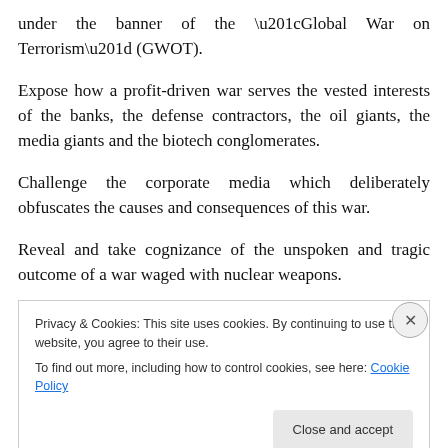under the banner of the “Global War on Terrorism” (GWOT).
Expose how a profit-driven war serves the vested interests of the banks, the defense contractors, the oil giants, the media giants and the biotech conglomerates.
Challenge the corporate media which deliberately obfuscates the causes and consequences of this war.
Reveal and take cognizance of the unspoken and tragic outcome of a war waged with nuclear weapons.
Privacy & Cookies: This site uses cookies. By continuing to use this website, you agree to their use.
To find out more, including how to control cookies, see here: Cookie Policy